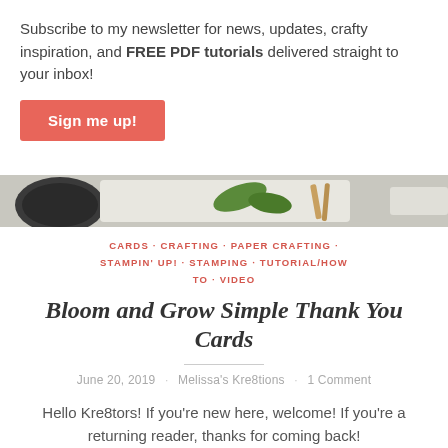Subscribe to my newsletter for news, updates, crafty inspiration, and FREE PDF tutorials delivered straight to your inbox!
Sign me up!
[Figure (photo): Partial image strip showing crafting supplies including what appears to be brushes and green leaves against a white background]
CARDS · CRAFTING · PAPER CRAFTING · STAMPIN' UP! · STAMPING · TUTORIAL/HOW TO · VIDEO
Bloom and Grow Simple Thank You Cards
June 20, 2019 · Melissa's Kre8tions · 1 Comment
Hello Kre8tors! If you're new here, welcome! If you're a returning reader, thanks for coming back!